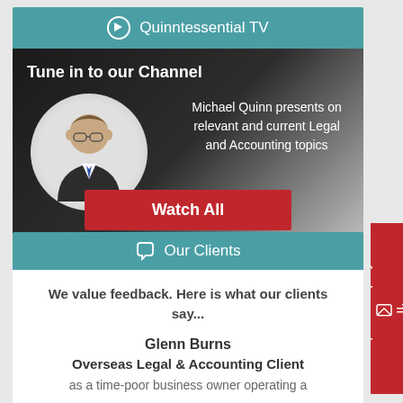Quinntessential TV
[Figure (illustration): Quinntessential TV banner showing a man in a suit in a circular portrait with text: Tune in to our Channel. Michael Quinn presents on relevant and current Legal and Accounting topics. Watch All button in red.]
Our Clients
We value feedback. Here is what our clients say...
Glenn Burns
Overseas Legal & Accounting Client
as a time-poor business owner operating a